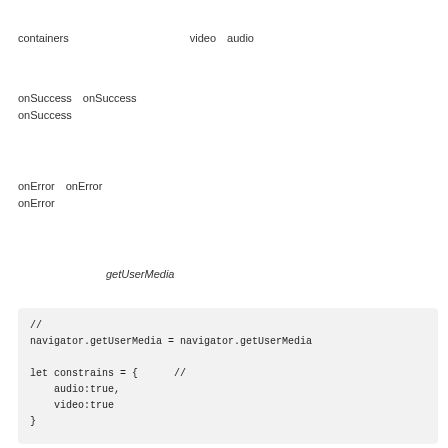containers　　　　　　　　　　　video　audio
onSuccess　onSuccess　　　　　　　　　　　　　　　　　　　　　　　　　　　　　　　　　　　　　　　　　　　　　　onSuccess
onError　onError　　　　　　　　　　　　　　　　　　　　　　　　　　　　　　　　　　　　　　　　　　　　　　　onError
getUserMedia
// navigator.getUserMedia = navigator.getUserMedia
let constrains = {        //　　　　　　　　　　　
    audio:true,
    video:true
}